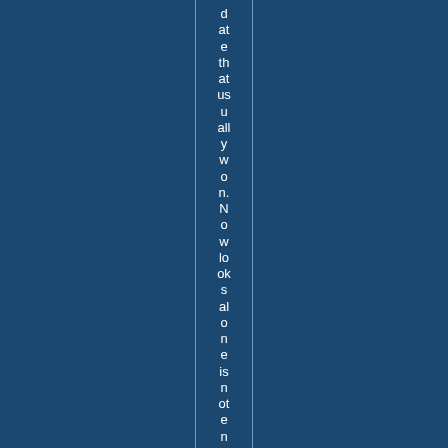date that at usually won. Now looks alone is not enough